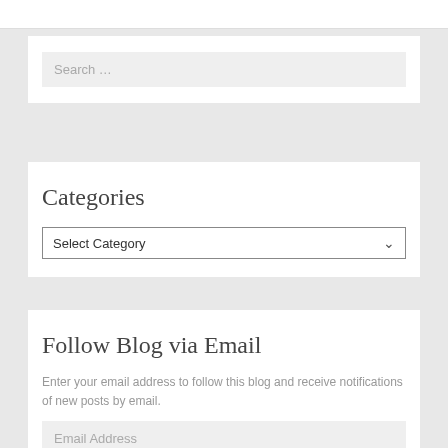[Figure (screenshot): Top white bar strip at the very top of the page]
[Figure (screenshot): Search widget with a light gray search input box containing placeholder text 'Search ...']
Categories
[Figure (screenshot): Dropdown select box with 'Select Category' placeholder and a dropdown arrow on the right]
Follow Blog via Email
Enter your email address to follow this blog and receive notifications of new posts by email.
[Figure (screenshot): Email address input field with placeholder text 'Email Address']